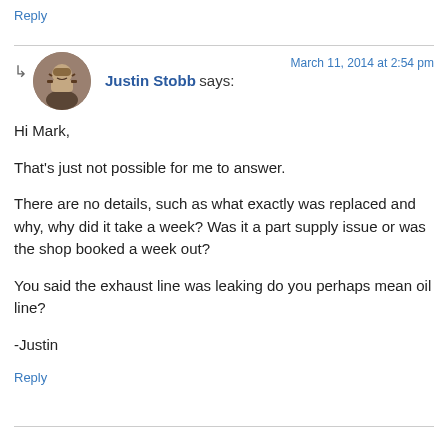Reply
[Figure (photo): Circular avatar photo of Justin Stobb, a bearded man outdoors]
Justin Stobb says:   March 11, 2014 at 2:54 pm
Hi Mark,

That's just not possible for me to answer.

There are no details, such as what exactly was replaced and why, why did it take a week? Was it a part supply issue or was the shop booked a week out?

You said the exhaust line was leaking do you perhaps mean oil line?

-Justin
Reply